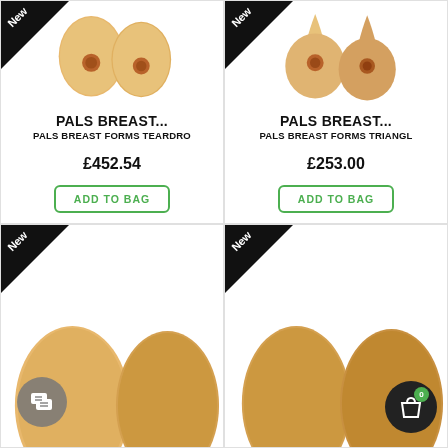[Figure (photo): Product photo of PALS Breast Forms Teardrop shape, two breast forms side by side, skin tone, with 'New' badge]
PALS BREAST...
PALS BREAST FORMS TEARDRO
£452.54
ADD TO BAG
[Figure (photo): Product photo of PALS Breast Forms Triangle shape, two breast forms side by side, skin tone, with 'New' badge]
PALS BREAST...
PALS BREAST FORMS TRIANGL
£253.00
ADD TO BAG
[Figure (photo): Product photo partially visible, bottom row left, skin tone breast forms, with 'New' badge]
[Figure (photo): Product photo partially visible, bottom row right, skin tone breast forms, with 'New' badge]